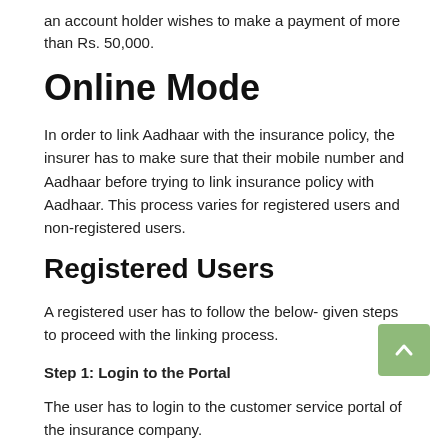an account holder wishes to make a payment of more than Rs. 50,000.
Online Mode
In order to link Aadhaar with the insurance policy, the insurer has to make sure that their mobile number and Aadhaar before trying to link insurance policy with Aadhaar. This process varies for registered users and non-registered users.
Registered Users
A registered user has to follow the below- given steps to proceed with the linking process.
Step 1: Login to the Portal
The user has to login to the customer service portal of the insurance company.